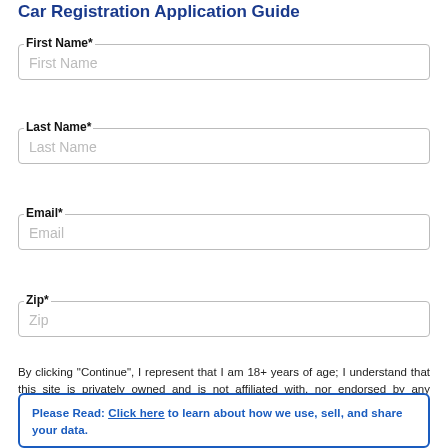Car Registration Application Guide
First Name*
First Name
Last Name*
Last Name
Email*
Email
Zip*
Zip
By clicking "Continue", I represent that I am 18+ years of age; I understand that this site is privately owned and is not affiliated with, nor endorsed by any government agency. I agree that the personal information I provide you with
Please Read: Click here to learn about how we use, sell, and share your data.
I understand the data policies that govern this site, how my data is used, disclosed, and shared & what I get as a user.